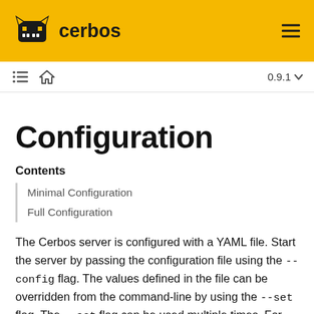cerbos
Configuration
Contents
Minimal Configuration
Full Configuration
The Cerbos server is configured with a YAML file. Start the server by passing the configuration file using the --config flag. The values defined in the file can be overridden from the command-line by using the --set flag. The --set flag can be used multiple times. For example, to override server.httpListenAddr